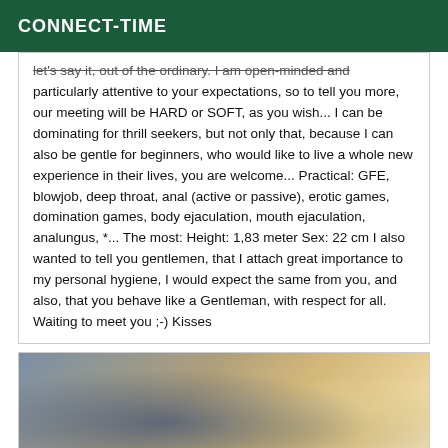CONNECT-TIME
let's say it, out of the ordinary. I am open-minded and particularly attentive to your expectations, so to tell you more, our meeting will be HARD or SOFT, as you wish... I can be dominating for thrill seekers, but not only that, because I can also be gentle for beginners, who would like to live a whole new experience in their lives, you are welcome... Practical: GFE, blowjob, deep throat, anal (active or passive), erotic games, domination games, body ejaculation, mouth ejaculation, analungus, *... The most: Height: 1,83 meter Sex: 22 cm I also wanted to tell you gentlemen, that I attach great importance to my personal hygiene, I would expect the same from you, and also, that you behave like a Gentleman, with respect for all. Waiting to meet you ;-) Kisses
[Figure (photo): Photo showing two people in an intimate embrace, one with blonde hair, warm lighting in background]